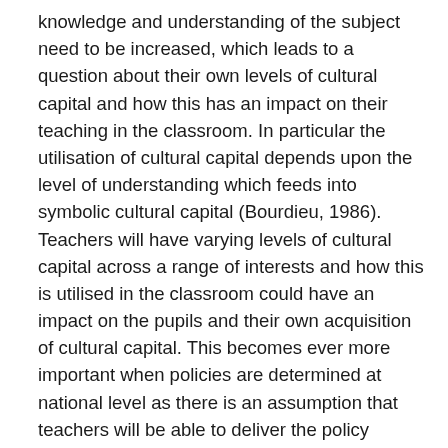knowledge and understanding of the subject need to be increased, which leads to a question about their own levels of cultural capital and how this has an impact on their teaching in the classroom. In particular the utilisation of cultural capital depends upon the level of understanding which feeds into symbolic cultural capital (Bourdieu, 1986). Teachers will have varying levels of cultural capital across a range of interests and how this is utilised in the classroom could have an impact on the pupils and their own acquisition of cultural capital. This becomes ever more important when policies are determined at national level as there is an assumption that teachers will be able to deliver the policy successfully (Nightingale, 2020). It does not acknowledge that teachers will bring with them their own interest and expertise which may not accord with the policy, but which could be used in the classroom. The delivery of a cultural capital policy in the classroom is therefore problematic (Nightingale, 2020; Phillips, 2021; Ruck, 2020)